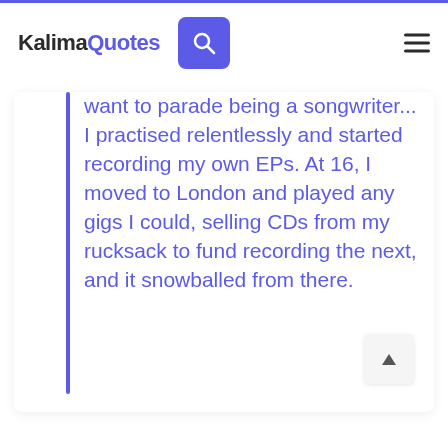KalimaQuotes
want to parade being a songwriter... I practised relentlessly and started recording my own EPs. At 16, I moved to London and played any gigs I could, selling CDs from my rucksack to fund recording the next, and it snowballed from there.